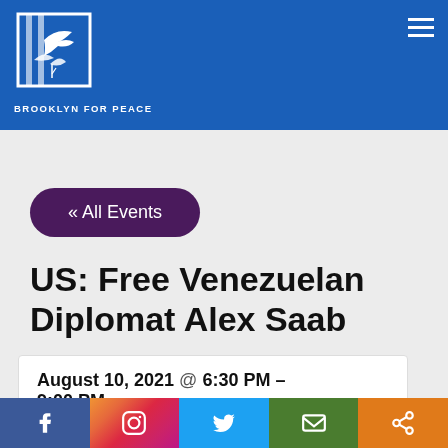BROOKLYN FOR PEACE
« All Events
US: Free Venezuelan Diplomat Alex Saab
August 10, 2021 @ 6:30 PM – 9:00 PM
Social share icons: Facebook, Instagram, Twitter, Email, Share